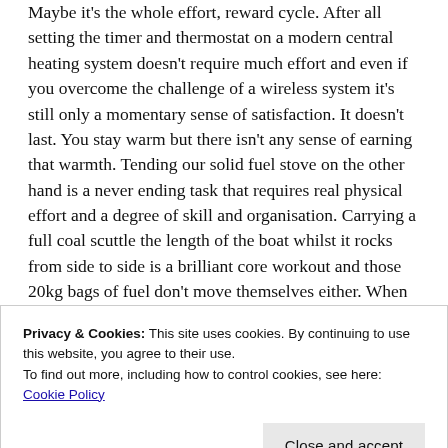Maybe it's the whole effort, reward cycle. After all setting the timer and thermostat on a modern central heating system doesn't require much effort and even if you overcome the challenge of a wireless system it's still only a momentary sense of satisfaction. It doesn't last. You stay warm but there isn't any sense of earning that warmth. Tending our solid fuel stove on the other hand is a never ending task that requires real physical effort and a degree of skill and organisation. Carrying a full coal scuttle the length of the boat whilst it rocks from side to side is a brilliant core workout and those 20kg bags of fuel don't move themselves either. When it comes to keeping the fire in it will burn for ten hours without attention but during the day a little more tending gives us more control. Feeding the fire with coal,
Privacy & Cookies: This site uses cookies. By continuing to use this website, you agree to their use.
To find out more, including how to control cookies, see here: Cookie Policy
simmering away, filling the boat with mouth watering smells. The